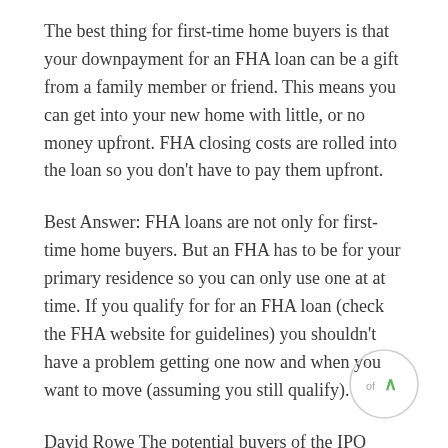The best thing for first-time home buyers is that your downpayment for an FHA loan can be a gift from a family member or friend. This means you can get into your new home with little, or no money upfront. FHA closing costs are rolled into the loan so you don't have to pay them upfront.
Best Answer: FHA loans are not only for first-time home buyers. But an FHA has to be for your primary residence so you can only use one at at time. If you qualify for for an FHA loan (check the FHA website for guidelines) you shouldn't have a problem getting one now and when you want to move (assuming you still qualify).
David Rowe The potential buyers of the IPO baulked at backing a company. which has a market capitalisation of $1.8 billion in a short space of time. But the banker said